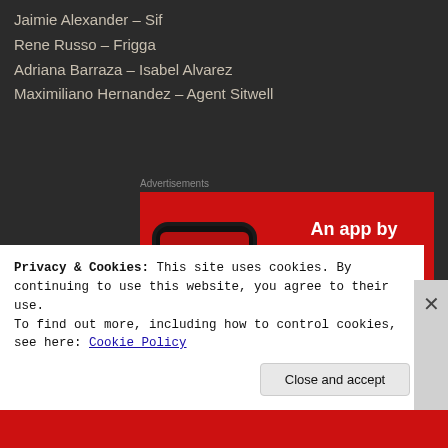Jaimie Alexander – Sif
Rene Russo – Frigga
Adriana Barraza – Isabel Alvarez
Maximiliano Hernandez – Agent Sitwell
Advertisements
[Figure (illustration): Advertisement banner with red background showing a smartphone with a podcast app open displaying 'Distributed' text, alongside the text 'An app by listeners, for listeners.' and a 'Download now' button.]
Privacy & Cookies: This site uses cookies. By continuing to use this website, you agree to their use.
To find out more, including how to control cookies, see here: Cookie Policy
Close and accept